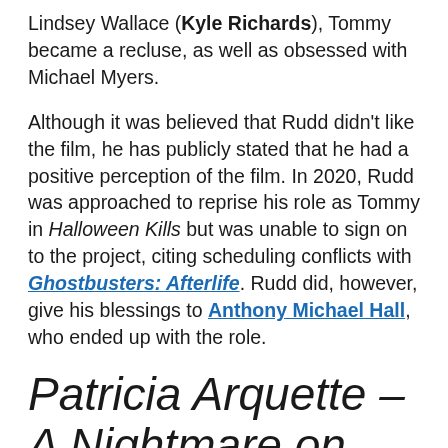Lindsey Wallace (Kyle Richards), Tommy became a recluse, as well as obsessed with Michael Myers.
Although it was believed that Rudd didn't like the film, he has publicly stated that he had a positive perception of the film. In 2020, Rudd was approached to reprise his role as Tommy in Halloween Kills but was unable to sign on to the project, citing scheduling conflicts with Ghostbusters: Afterlife. Rudd did, however, give his blessings to Anthony Michael Hall, who ended up with the role.
Patricia Arquette – A Nightmare on Elm Street 3: Dream